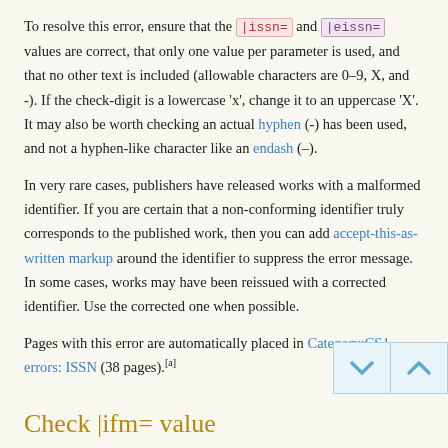To resolve this error, ensure that the |issn= and |eissn= values are correct, that only one value per parameter is used, and that no other text is included (allowable characters are 0–9, X, and -). If the check-digit is a lowercase 'x', change it to an uppercase 'X'. It may also be worth checking an actual hyphen (-) has been used, and not a hyphen-like character like an endash (–).
In very rare cases, publishers have released works with a malformed identifier. If you are certain that a non-conforming identifier truly corresponds to the published work, then you can add accept-this-as-written markup around the identifier to suppress the error message. In some cases, works may have been reissued with a corrected identifier. Use the corrected one when possible.
Pages with this error are automatically placed in Category:CS1 errors: ISSN (38 pages).[a]
Check |ifm= value